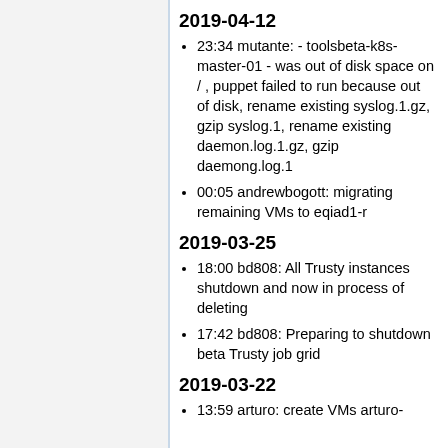2019-04-12
23:34 mutante: - toolsbeta-k8s-master-01 - was out of disk space on / , puppet failed to run because out of disk, rename existing syslog.1.gz, gzip syslog.1, rename existing daemon.log.1.gz, gzip daemong.log.1
00:05 andrewbogott: migrating remaining VMs to eqiad1-r
2019-03-25
18:00 bd808: All Trusty instances shutdown and now in process of deleting
17:42 bd808: Preparing to shutdown beta Trusty job grid
2019-03-22
13:59 arturo: create VMs arturo-